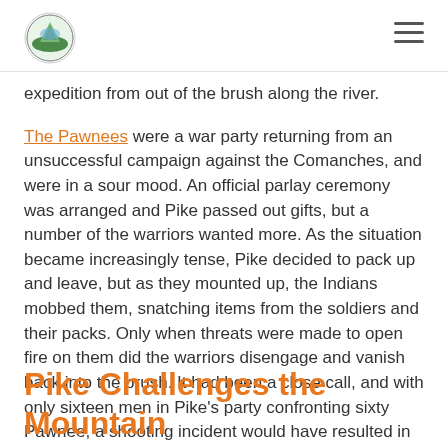[Logo] [Navigation menu icon]
expedition from out of the brush along the river.
The Pawnees were a war party returning from an unsuccessful campaign against the Comanches, and were in a sour mood. An official parlay ceremony was arranged and Pike passed out gifts, but a number of the warriors wanted more. As the situation became increasingly tense, Pike decided to pack up and leave, but as they mounted up, the Indians mobbed them, snatching items from the soldiers and their packs. Only when threats were made to open fire on them did the warriors disengage and vanish back into the brush. It had been a close call, and with only sixteen men in Pike's party confronting sixty Pawnee, a shooting incident would have resulted in a bloodbath.
Pike Challenges the Mountain